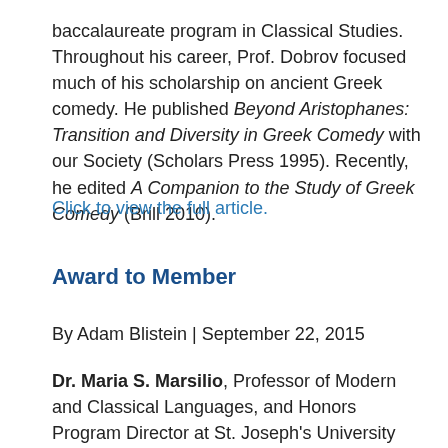baccalaureate program in Classical Studies. Throughout his career, Prof. Dobrov focused much of his scholarship on ancient Greek comedy. He published Beyond Aristophanes: Transition and Diversity in Greek Comedy with our Society (Scholars Press 1995). Recently, he edited A Companion to the Study of Greek Comedy (Brill 2010).
Click to view the full article.
Award to Member
By Adam Blistein | September 22, 2015
Dr. Maria S. Marsilio, Professor of Modern and Classical Languages, and Honors Program Director at St. Joseph's University received the University's Christian and Mary Lindback Award for Distinguished Teaching at its commencement in May 2015. The University gives this award for outstanding teaching